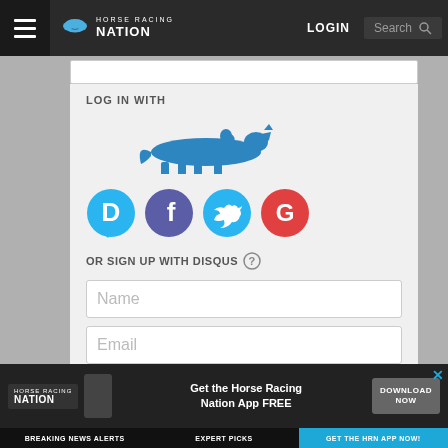Horse Racing Nation - LOGIN - Search
LOG IN WITH
[Figure (logo): Blue silhouette of a horse and jockey racing, Horse Racing Nation logo style]
[Figure (infographic): Four social login icons: Disqus (blue D), Facebook (purple F), Twitter (cyan bird), Google (red G)]
OR SIGN UP WITH DISQUS ?
Name
Email
Password
Please access our Privacy Policy to learn what personal data Disqus collects and your choices about how it is used. All users of our service are also subject to our Terms of
[Figure (infographic): Horse Racing Nation app advertisement banner: logo, phone image, Get the Horse Racing Nation App FREE, DOWNLOAD NOW button, close X, footer bar with BREAKING NEWS ALERTS, EXPERT PICKS, GET THE HRN APP NOW!]